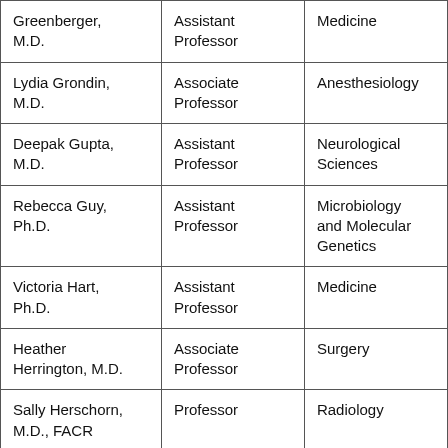| Greenberger, M.D. | Assistant Professor | Medicine |
| Lydia Grondin, M.D. | Associate Professor | Anesthesiology |
| Deepak Gupta, M.D. | Assistant Professor | Neurological Sciences |
| Rebecca Guy, Ph.D. | Assistant Professor | Microbiology and Molecular Genetics |
| Victoria Hart, Ph.D. | Assistant Professor | Medicine |
| Heather Herrington, M.D. | Associate Professor | Surgery |
| Sally Herschorn, M.D., FACR | Professor | Radiology |
| Abigail Hielscher, Ph.D. | Assistant Professor | Neurological Sciences |
| Rosy Hill, M.D. | Assistant Professor | Medicine |
| Naomi Hodde, | Assistant Professor | Medicine |